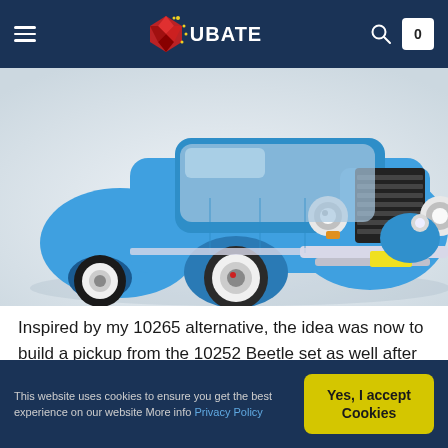KUBATE — Navigation header with hamburger menu, logo, search icon, and cart
[Figure (photo): Close-up photo of a blue LEGO classic car (Volkswagen Beetle style) built from LEGO bricks, showing the front and side detail including wheels, grille, and headlights, on a light grey/white background.]
Inspired by my 10265 alternative, the idea was now to build a pickup from the 10252 Beetle set as well after the Offroader creation earlier on. Because the parts seemed more suitable
This website uses cookies to ensure you get the best experience on our website More info Privacy Policy  [Yes, I accept Cookies]